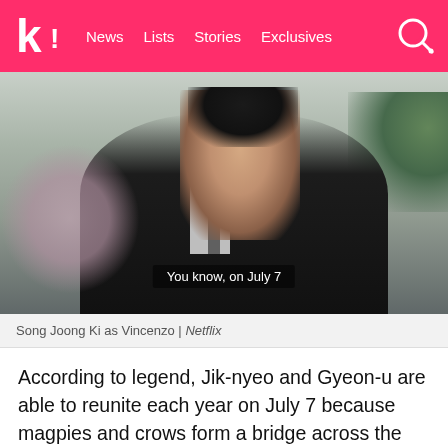k! News  Lists  Stories  Exclusives
[Figure (photo): Song Joong Ki as Vincenzo in a dark suit and tie, with a cut on his cheek, looking intensely to the side. Text overlay reads: 'You know, on July 7'. From Netflix.]
Song Joong Ki as Vincenzo | Netflix
According to legend, Jik-nyeo and Gyeon-u are able to reunite each year on July 7 because magpies and crows form a bridge across the Milky Way for the two to meet. By referencing this story, Vincenzo reassured Cha Young that